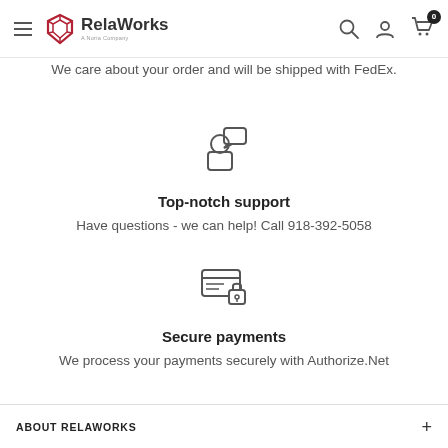RelaWorks — A Noria Company navigation header with hamburger menu, logo, search, account, and cart icons
We care about your order and will be shipped with FedEx.
[Figure (illustration): Icon of a person with a speech/chat bubble above them, representing customer support]
Top-notch support
Have questions - we can help! Call 918-392-5058
[Figure (illustration): Icon of a credit card with a lock symbol, representing secure payments]
Secure payments
We process your payments securely with Authorize.Net
ABOUT RELAWORKS